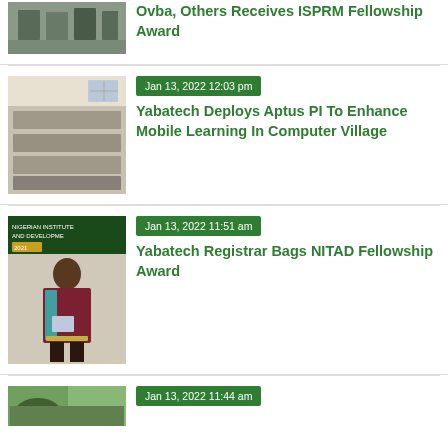[Figure (photo): Group photo of people at an award event, partially visible at top]
Ovba, Others Receives ISPRM Fellowship Award
[Figure (photo): People seated in a hall for an event, photograph]
Jan 13, 2022 12:03 pm
Yabatech Deploys Aptus PI To Enhance Mobile Learning In Computer Village
[Figure (photo): Man in academic regalia holding an award at Nigerian Institute and Development 2021 event]
Jan 13, 2022 11:51 am
Yabatech Registrar Bags NITAD Fellowship Award
[Figure (photo): Outdoor event photo, partially visible at bottom]
Jan 13, 2022 11:44 am